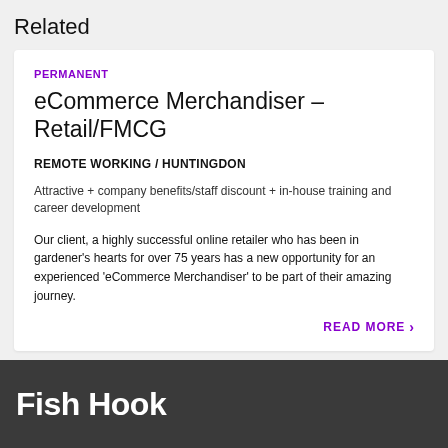Related
PERMANENT
eCommerce Merchandiser – Retail/FMCG
REMOTE WORKING / HUNTINGDON
Attractive + company benefits/staff discount + in-house training and career development
Our client, a highly successful online retailer who has been in gardener's hearts for over 75 years has a new opportunity for an experienced 'eCommerce Merchandiser' to be part of their amazing journey.
READ MORE
Fish Hook